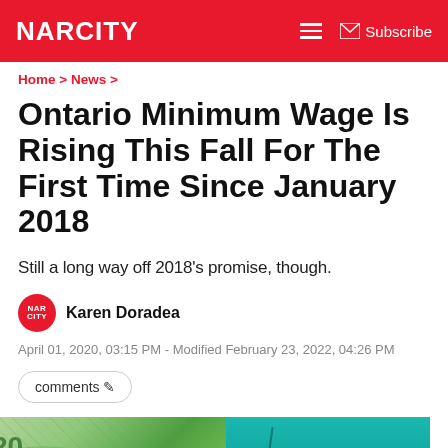NARCITY
Home > News >
Ontario Minimum Wage Is Rising This Fall For The First Time Since January 2018
Still a long way off 2018's promise, though.
Karen Doradea
April 01, 2020, 03:15 PM - Modified February 23, 2022, 04:26 PM
comments
[Figure (photo): Two-panel image: left side shows green Canadian $20 bills fanned out with 'Canada' visible; right side shows teal/turquoise background with a thin vertical element and a grey scroll-to-top button with upward arrow.]